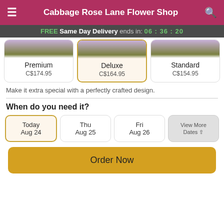Cabbage Rose Lane Flower Shop
FREE Same Day Delivery ends in: 06 : 36 : 20
| Premium | Deluxe | Standard |
| --- | --- | --- |
| C$174.95 | C$164.95 | C$154.95 |
Make it extra special with a perfectly crafted design.
When do you need it?
Today Aug 24
Thu Aug 25
Fri Aug 26
View More Dates
Order Now